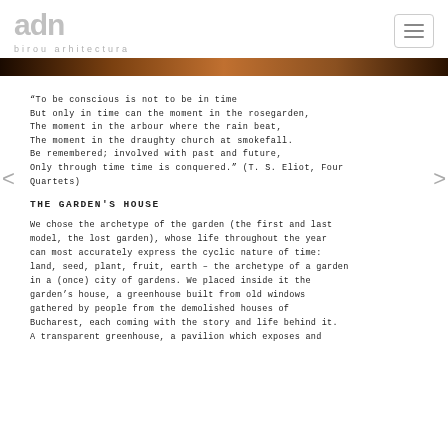adn birou arhitectura
[Figure (illustration): Horizontal banner image with warm amber/brown gradient tones, appearing to show a blurred sunrise or architectural scene.]
“To be conscious is not to be in time
But only in time can the moment in the rosegarden,
The moment in the arbour where the rain beat,
The moment in the draughty church at smokefall.
Be remembered; involved with past and future,
Only through time time is conquered.” (T. S. Eliot, Four Quartets)
THE GARDEN'S HOUSE
We chose the archetype of the garden (the first and last model, the lost garden), whose life throughout the year can most accurately express the cyclic nature of time: land, seed, plant, fruit, earth – the archetype of a garden in a (once) city of gardens. We placed inside it the garden’s house, a greenhouse built from old windows gathered by people from the demolished houses of Bucharest, each coming with the story and life behind it. A transparent greenhouse, a pavilion which exposes and